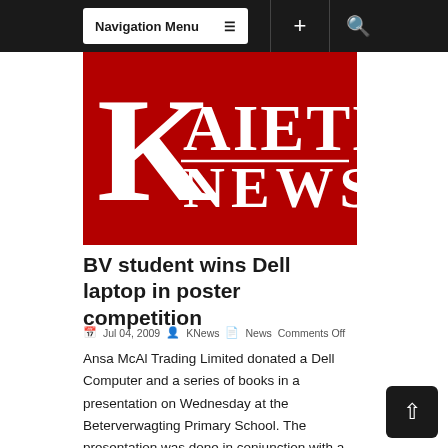Navigation Menu
[Figure (logo): Kaieteur News logo — white serif text 'KAIETEUR NEWS' on red background with large K initial letter]
BV student wins Dell laptop in poster competition
Jul 04, 2009  KNews  News  Comments Off
Ansa McAl Trading Limited donated a Dell Computer and a series of books in a presentation on Wednesday at the Beterverwagting Primary School. The presentation was done in conjunction with a...